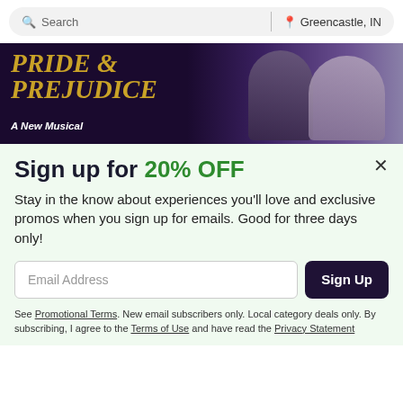Search | Greencastle, IN
[Figure (illustration): Pride & Prejudice A New Musical banner with two characters on dark purple background]
Sign up for 20% OFF
Stay in the know about experiences you'll love and exclusive promos when you sign up for emails. Good for three days only!
Email Address [input field] Sign Up [button]
See Promotional Terms. New email subscribers only. Local category deals only. By subscribing, I agree to the Terms of Use and have read the Privacy Statement